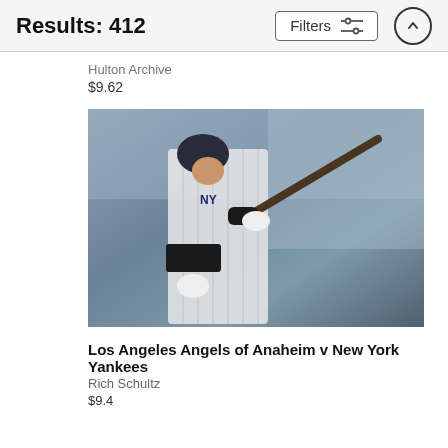Results: 412
Hulton Archive
$9.62
[Figure (photo): Baseball player in New York Yankees pinstripe uniform swinging a bat, looking upward, with blurred crowd in background]
Los Angeles Angels of Anaheim v New York Yankees
Rich Schultz
$9.42